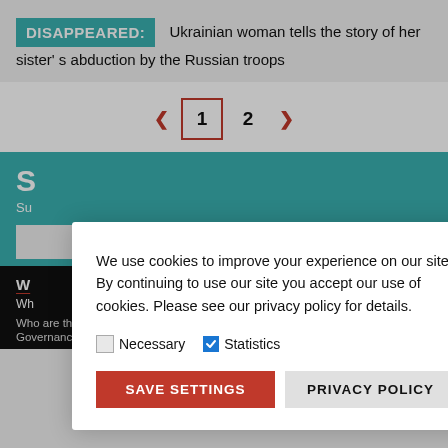DISAPPEARED: Ukrainian woman tells the story of her sister's abduction by the Russian troops
< 1 2 >
S Su
We use cookies to improve your experience on our site. By continuing to use our site you accept our use of cookies. Please see our privacy policy for details.
Necessary  Statistics
SAVE SETTINGS  PRIVACY POLICY
W Wh Who are the torturers?  Governance
How to become a member  Our member directory